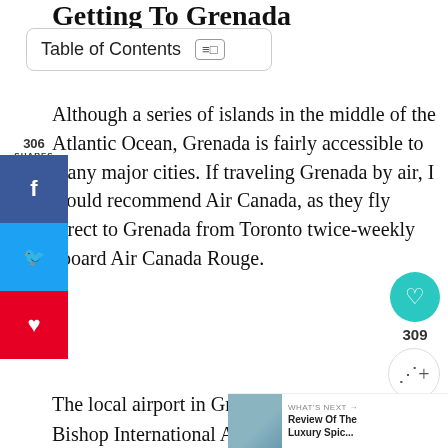Getting To Grenada
[Figure (other): Table of Contents toggle button with list icon]
Although a series of islands in the middle of the Atlantic Ocean, Grenada is fairly accessible to many major cities. If traveling Grenada by air, I would recommend Air Canada, as they fly direct to Grenada from Toronto twice-weekly aboard Air Canada Rouge.
The local airport in Grenada, Maurice Bishop International Airport, is conveniently